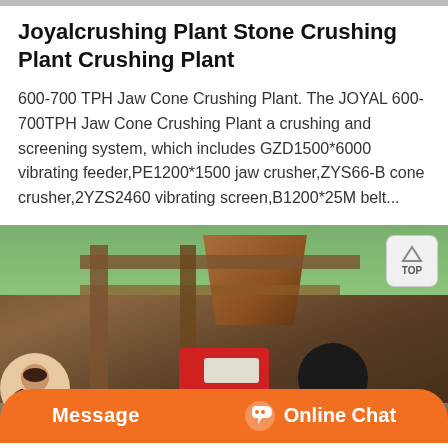Joyalcrushing Plant Stone Crushing Plant Crushing Plant
600-700 TPH Jaw Cone Crushing Plant. The JOYAL 600-700TPH Jaw Cone Crushing Plant a crushing and screening system, which includes GZD1500*6000 vibrating feeder,PE1200*1500 jaw crusher,ZYS66-B cone crusher,2YZS2460 vibrating screen,B1200*25M belt...
[Figure (photo): Photo of a stone crushing plant showing industrial machinery including a jaw crusher with red housing, black pulley wheel, hopper structure, and metal frame beams, with rocky terrain and vegetation in background.]